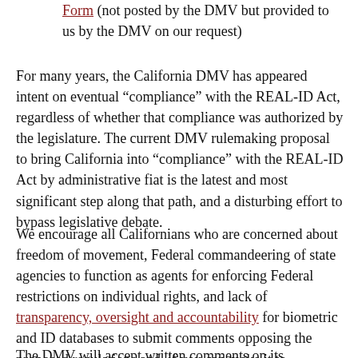Form (not posted by the DMV but provided to us by the DMV on our request)
For many years, the California DMV has appeared intent on eventual “compliance” with the REAL-ID Act, regardless of whether that compliance was authorized by the legislature. The current DMV rulemaking proposal to bring California into “compliance” with the REAL-ID Act by administrative fiat is the latest and most significant step along that path, and a disturbing effort to bypass legislative debate.
We encourage all Californians who are concerned about freedom of movement, Federal commandeering of state agencies to function as agents for enforcing Federal restrictions on individual rights, and lack of transparency, oversight and accountability for biometric and ID databases to submit comments opposing the proposed regulations and, if you can make it to Sacramento, to testify at the hearing on October 16th.
The DMV will accept written comments on its